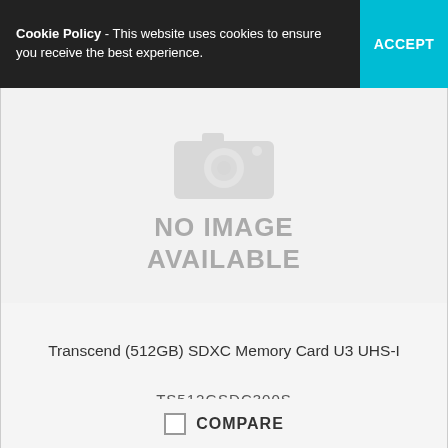Cookie Policy - This website uses cookies to ensure you receive the best experience. ACCEPT
[Figure (illustration): No image available placeholder with camera icon silhouette and text 'NO IMAGE AVAILABLE']
Transcend (512GB) SDXC Memory Card U3 UHS-I
TS512GSDC300S
POA
COMPARE